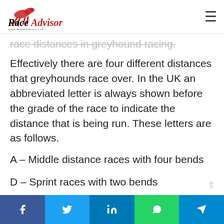Race Advisor — www.raceadvisor.co.uk
race distances in greyhound racing. Effectively there are four different distances that greyhounds race over. In the UK an abbreviated letter is always shown before the grade of the race to indicate the distance that is being run. These letters are as follows.
A – Middle distance races with four bends
D – Sprint races with two bends
E – Marathon races with eight bends or more
Facebook | Twitter | LinkedIn | WhatsApp | Telegram